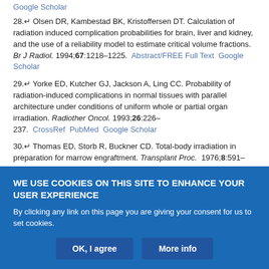Google Scholar
28.↵ Olsen DR, Kambestad BK, Kristoffersen DT. Calculation of radiation induced complication probabilities for brain, liver and kidney, and the use of a reliability model to estimate critical volume fractions. Br J Radiol. 1994;67:1218–1225. Abstract/FREE Full Text Google Scholar
29.↵ Yorke ED, Kutcher GJ, Jackson A, Ling CC. Probability of radiation-induced complications in normal tissues with parallel architecture under conditions of uniform whole or partial organ irradiation. Radiother Oncol. 1993;26:226–237. CrossRef PubMed Google Scholar
30.↵ Thomas ED, Storb R, Buckner CD. Total-body irradiation in preparation for marrow engraftment. Transplant Proc. 1976;8:591–593. PubMed Google Scholar
WE USE COOKIES ON THIS SITE TO ENHANCE YOUR USER EXPERIENCE
By clicking any link on this page you are giving your consent for us to set cookies.